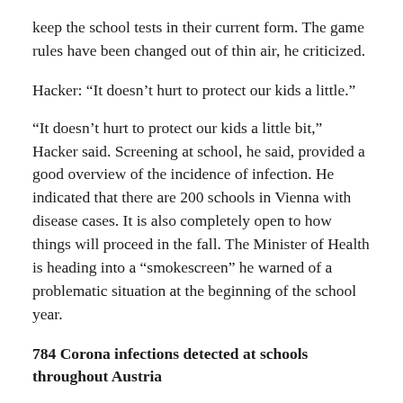keep the school tests in their current form. The game rules have been changed out of thin air, he criticized.
Hacker: “It doesn’t hurt to protect our kids a little.”
“It doesn’t hurt to protect our kids a little bit,” Hacker said. Screening at school, he said, provided a good overview of the incidence of infection. He indicated that there are 200 schools in Vienna with disease cases. It is also completely open to how things will proceed in the fall. The Minister of Health is heading into a “smokescreen” he warned of a problematic situation at the beginning of the school year.
784 Corona infections detected at schools throughout Austria